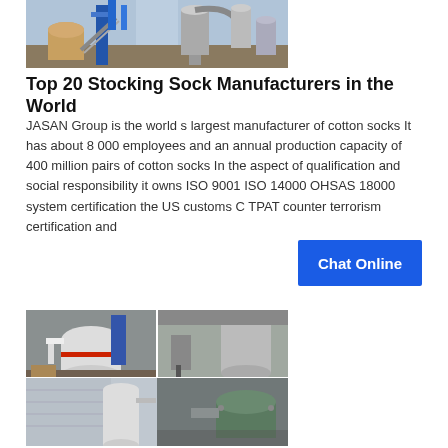[Figure (photo): Industrial facility with blue metal structures, silos, conveyor systems and dust collection equipment]
Top 20 Stocking Sock Manufacturers in the World
JASAN Group is the world s largest manufacturer of cotton socks It has about 8 000 employees and an annual production capacity of 400 million pairs of cotton socks In the aspect of qualification and social responsibility it owns ISO 9001 ISO 14000 OHSAS 18000 system certification the US customs C TPAT counter terrorism certification and
[Figure (illustration): Blue chat online button]
[Figure (photo): Four-panel collage of industrial grinding/milling machinery and equipment inside factory buildings]